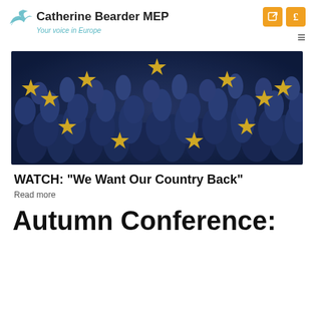Catherine Bearder MEP — Your voice in Europe
[Figure (photo): Crowd of people overlaid with European Union flag stars in gold on a blue-tinted image]
WATCH: "We Want Our Country Back"
Read more
Autumn Conference: